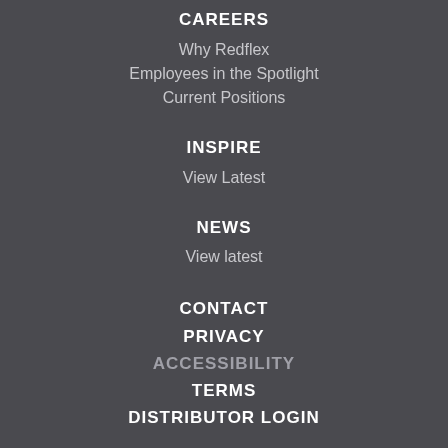CAREERS
Why Redflex
Employees in the Spotlight
Current Positions
INSPIRE
View Latest
NEWS
View latest
CONTACT
PRIVACY
ACCESSIBILITY
TERMS
DISTRIBUTOR LOGIN